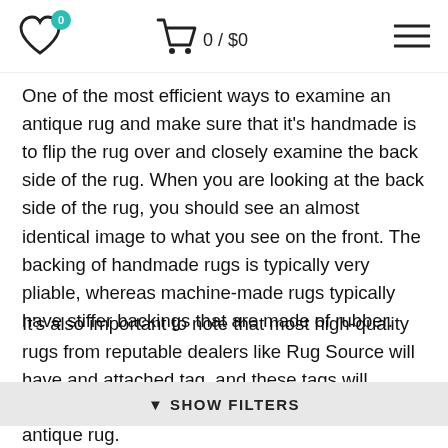0 / $0
One of the most efficient ways to examine an antique rug and make sure that it's handmade is to flip the rug over and closely examine the back side of the rug. When you are looking at the back side of the rug, you should see an almost identical image to what you see on the front. The backing of handmade rugs is typically very pliable, whereas machine-made rugs typically have stiffer backings that are made of rubber.
It's also important to note that most high-quality rugs from reputable dealers like Rug Source will have and attached tag, and these tags will indicate the type of antique rug.
▼ SHOW FILTERS